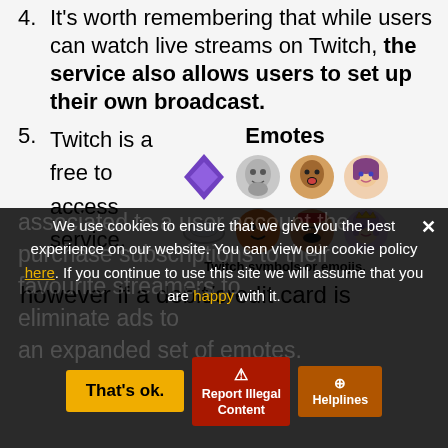4. It's worth remembering that while users can watch live streams on Twitch, the service also allows users to set up their own broadcast.
5. Twitch is a free to access service,
[Figure (illustration): Twitch Emotes panel showing a purple diamond symbol and 6 cartoon/avatar face emotes in two rows]
Twitch symbols or emojis.
however if a debit/credit card is associated to a user account the purchase subscriptions to their favourite streamers to eliminate ads to an expanded set of emotes.
We use cookies to ensure that we give you the best experience on our website. You can view our cookie policy here. If you continue to use this site we will assume that you are happy with it.